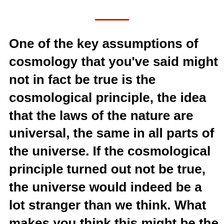One of the key assumptions of cosmology that you've said might not in fact be true is the cosmological principle, the idea that the laws of the nature are universal, the same in all parts of the universe. If the cosmological principle turned out not be true, the universe would indeed be a lot stranger than we think. What makes you think this might be the case? Could we even know by observing other parts of the universe whether they obey other laws of nature, or whether our